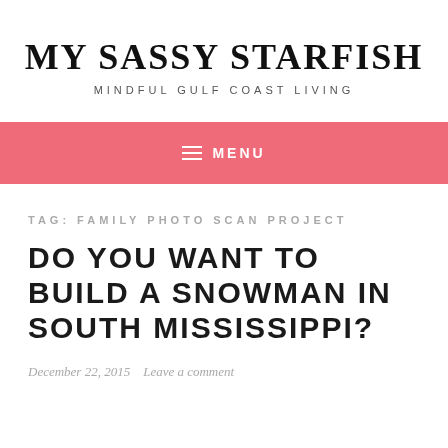MY SASSY STARFISH
MINDFUL GULF COAST LIVING
≡ MENU
TAG: FAMILY PHOTO SCAN PROJECT
DO YOU WANT TO BUILD A SNOWMAN IN SOUTH MISSISSIPPI?
December 22, 2015   Leave a comment